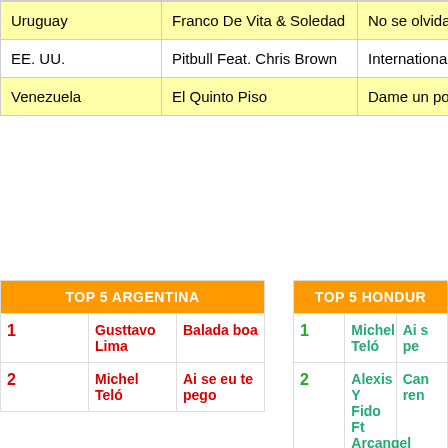| Country | Artist | Song |
| --- | --- | --- |
| Uruguay | Franco De Vita & Soledad | No se olvida |
| EE. UU. | Pitbull Feat. Chris Brown | International love |
| Venezuela | El Quinto Piso | Dame un poquito |
| # | Artist | Song |
| --- | --- | --- |
| 1 | Gusttavo Lima | Balada boa |
| 2 | Michel Teló | Ai se eu te pego |
| # | Artist | Song |
| --- | --- | --- |
| 1 | Michel Teló | Ai se peg… |
| 2 | Alexis Y Fido Ft Arcangel | Can… ren… |